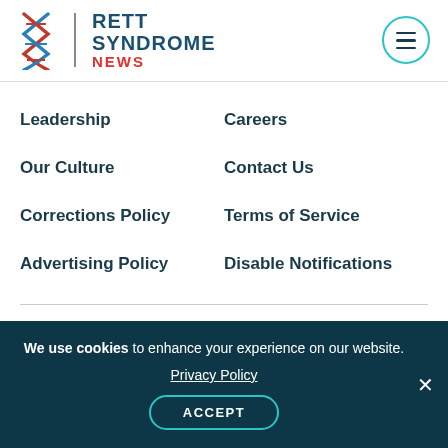Rett Syndrome News
Leadership
Careers
Our Culture
Contact Us
Corrections Policy
Terms of Service
Advertising Policy
Disable Notifications
Disclaimer
This site is strictly a news and information website
We use cookies to enhance your experience on our website. Privacy Policy ACCEPT